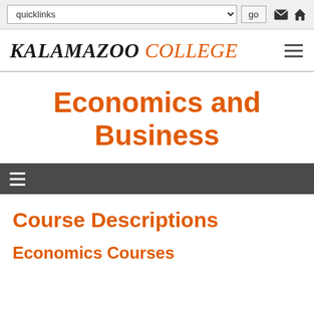quicklinks [dropdown] go [email icon] [home icon]
KALAMAZOO COLLEGE
Economics and Business
Course Descriptions
Economics Courses